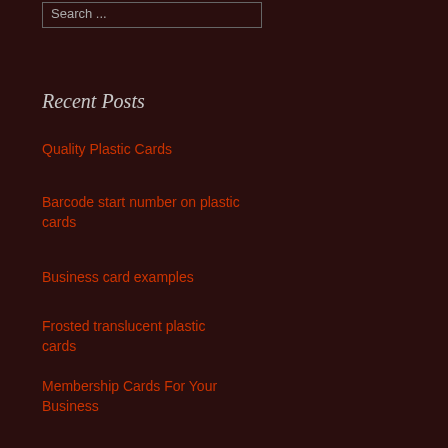Search ...
Recent Posts
Quality Plastic Cards
Barcode start number on plastic cards
Business card examples
Frosted translucent plastic cards
Membership Cards For Your Business
Recent Comments
sally on Plastic Cards with QR